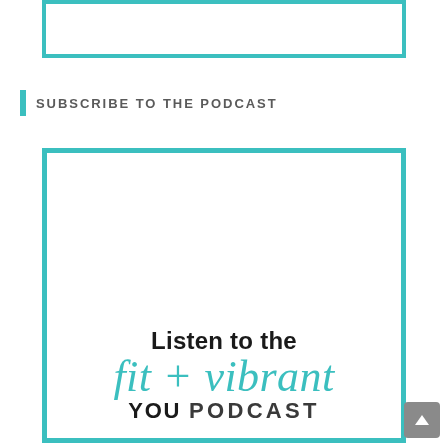[Figure (other): Partial teal-bordered white box at top of page, content clipped]
SUBSCRIBE TO THE PODCAST
[Figure (other): Podcast promotional image in teal border. Text reads: Listen to the fit + vibrant YOU PODCAST]